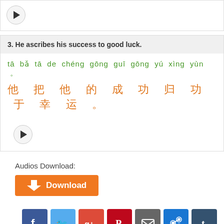[play button - top card]
3. He ascribes his success to good luck.
tā bǎ tā de chéng gōng guī gōng yú xìng yùn 。
他 把 他 的 成 功 归 功 于 幸 运 。
[play button]
Audios Download:
[Figure (other): Orange download button with arrow icon and 'Download' text]
[Figure (other): Social sharing icons: Facebook, Twitter, Google+, Pinterest, Email, ShareThis, Tumblr]
● CHINESE CHARACTER
● CHINESE TUTORIAL
● FREE CHINESE LESSON